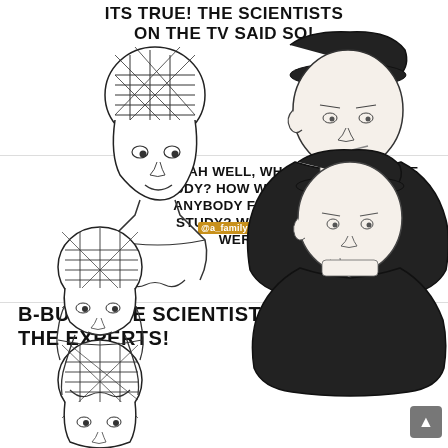ITS TRUE! THE SCIENTISTS ON THE TV SAID SO!
[Figure (illustration): Wojak meme panel 1: left side shows a distressed 'brain worm' wojak with a messy tangled head, right side shows a calm chad figure in black hoodie with a beanie]
@a_family_guy_nightmare
YEAH WELL, WHO CONDUCTED THE STUDY? HOW WAS IT CONDUCTED? DID ANYBODY FINANCIALLY BACK THE STUDY? WHO? HOW CONCLUSIVE WERE THE RESULTS?
[Figure (illustration): Wojak meme panel 2: left side shows distressed wojak again with tangled head, right side shows calm chad thinking]
B-BUT... THE SCIENTISTS! THE EXPERTS!
[Figure (illustration): Wojak meme panel 3 (partial): left side shows distressed wojak with tangled head, right side shows calm chad figure]